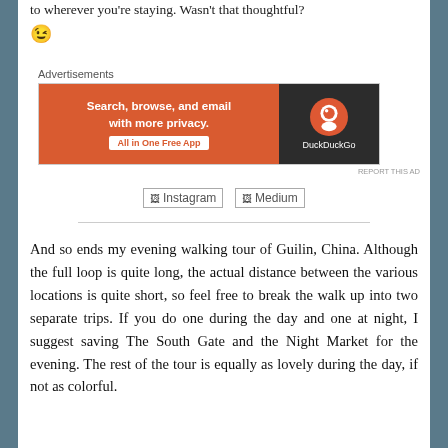to wherever you're staying. Wasn't that thoughtful? 😉
[Figure (other): DuckDuckGo advertisement banner: 'Search, browse, and email with more privacy. All in One Free App' with DuckDuckGo logo on dark background]
[Figure (other): Social media links: Instagram and Medium icons/buttons]
And so ends my evening walking tour of Guilin, China. Although the full loop is quite long, the actual distance between the various locations is quite short, so feel free to break the walk up into two separate trips. If you do one during the day and one at night, I suggest saving The South Gate and the Night Market for the evening. The rest of the tour is equally as lovely during the day, if not as colorful.